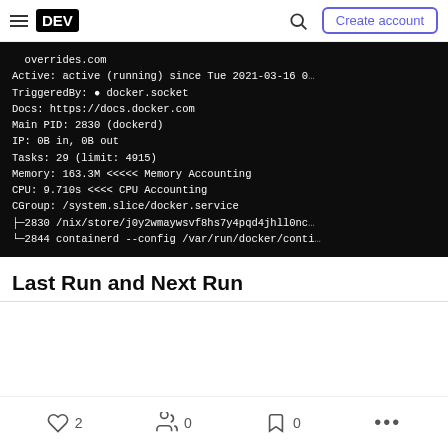DEV | Create account
[Figure (screenshot): Terminal output showing Docker service status: Active: active (running) since Tue 2021-03-16 0... TriggeredBy: • docker.socket Docs: https://docs.docker.com Main PID: 2830 (dockerd) IP: 0B in, 0B out Tasks: 29 (limit: 4915) Memory: 163.3M <<<<< Memory Accounting CPU: 9.710s <<<<< CPU Accounting CGroup: /system.slice/docker.service ├─2830 /nix/store/j0y2wmaywsvf8hs7y4pqd4jhll0nc: └─2844 containerd --config /var/run/docker/conti]
Last Run and Next Run
♡ 2  🔥 0  🔖 0  •••